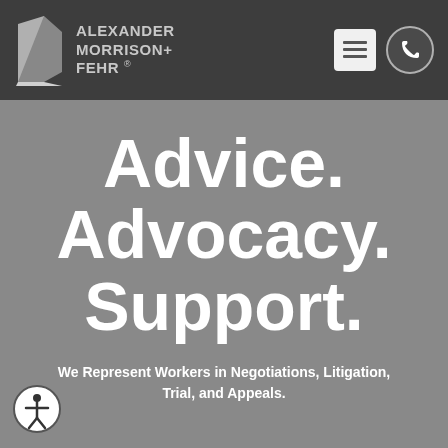ALEXANDER MORRISON+ FEHR
Advice. Advocacy. Support.
We Represent Workers in Negotiations, Litigation, Trial, and Appeals.